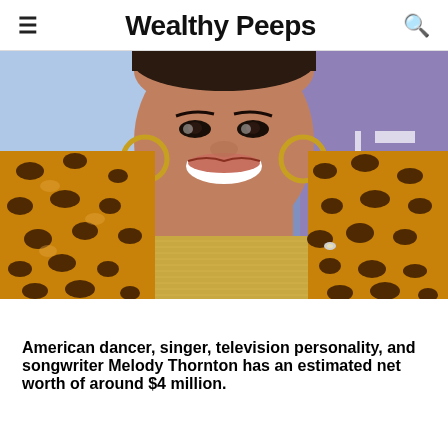Wealthy Peeps
[Figure (photo): Close-up photo of Melody Thornton smiling, wearing gold hoop earrings, a leopard print fur coat, and a gold metallic top, against a blue/purple event backdrop with partial letters visible]
American dancer, singer, television personality, and songwriter Melody Thornton has an estimated net worth of around $4 million.